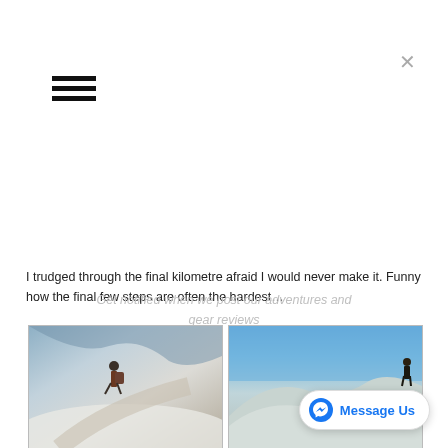[Figure (screenshot): Hamburger menu icon (three horizontal bars)]
[Figure (screenshot): Close (X) button top right]
I trudged through the final kilometre afraid I would never make it. Funny how the final few steps are often the hardest…
Get notified when we post our adventures and gear reviews
[Figure (photo): Hiker with backpack walking on a snow-covered path along a hillside]
[Figure (photo): Person standing on rocky ridge overlooking snow-covered mountain range under blue sky]
[Figure (photo): Partial view of mountainous snow scene, lower left]
[Figure (photo): Partial view of blue sky and clouds, lower right]
[Figure (screenshot): Facebook Messenger 'Message Us' button, bottom right corner]